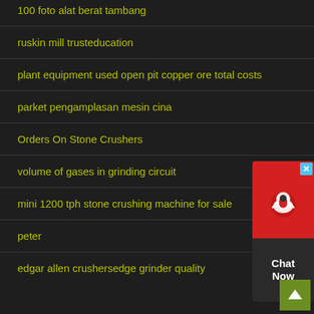100 foto alat berat tambang
ruskin mill trusteducation
plant equipment used open pit copper ore total costs
parket pengamplasan mesin cina
Orders On Stone Crushers
volume of gases in grinding circuit
mini 1200 tph stone crushing machine for sale
peter
edgar allen crushersedge grinder quality
[Figure (other): Chat Now widget with red background, headset icon, and dark gray text area showing 'Chat Now']
[Figure (other): Back to top button, olive/green square with upward arrow]